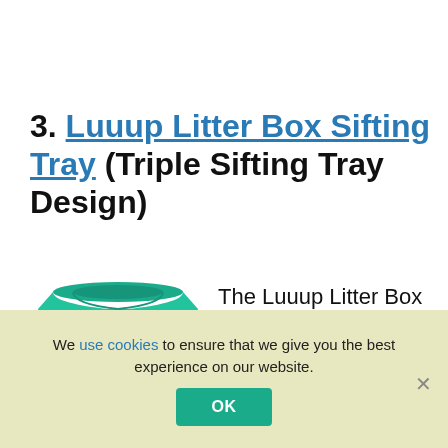3. Luuup Litter Box Sifting Tray (Triple Sifting Tray Design)
[Figure (photo): Luuup Litter Box Sifting Tray product image showing stacked green and white sifting trays]
The Luuup Litter Box Sifting Tray is another great product for anyone
We use cookies to ensure that we give you the best experience on our website.